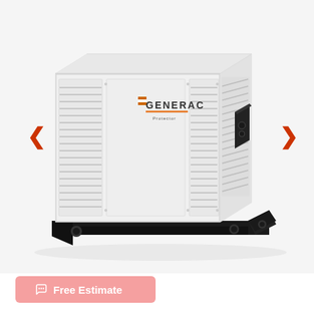[Figure (photo): A white Generac commercial/industrial standby generator unit shown in a 3/4 angle view. The generator has a white rectangular metal enclosure with louvered vents on the front and right side panels, a black square electrical connection box on the right side, a Generac logo and 'Protector' branding on the front panel, and a black steel base frame with mounting holes. Navigation arrows (red chevrons) are visible on the left and right sides of the image for a product image carousel.]
Free Estimate